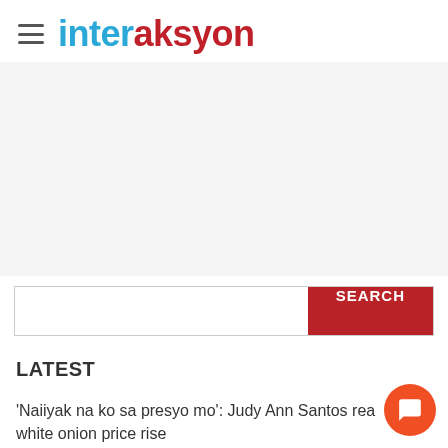interaksyon
[Figure (other): Advertisement / blank space area]
SEARCH (search bar)
LATEST
'Naiiyak na ko sa presyo mo': Judy Ann Santos reacts to white onion price rise
'Where are they from?' Pinoys worry over PH's 4th